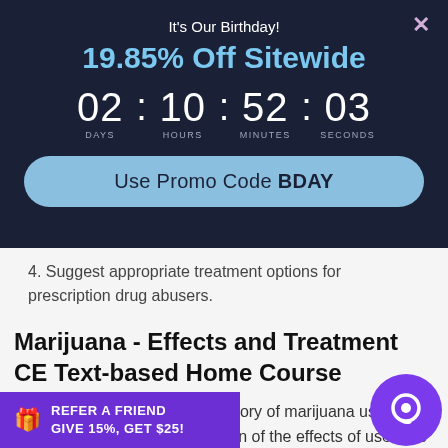It's Our Birthday!
19.85% Off Sitewide
02 : 10 : 52 : 03 — DAYS : HOURS : MINUTES : SECONDS
Use Promo Code BDAY
4. Suggest appropriate treatment options for prescription drug abusers.
Marijuana - Effects and Treatment CE Text-based Home Course
This course provides a brief history of marijuana use, followed by a detailed discussion of the effects of use. The phys... ...ychological effects, short- a... -term effects, and consequences for young people's use are
REFER A FRIEND
GIVE 15%, GET $25!